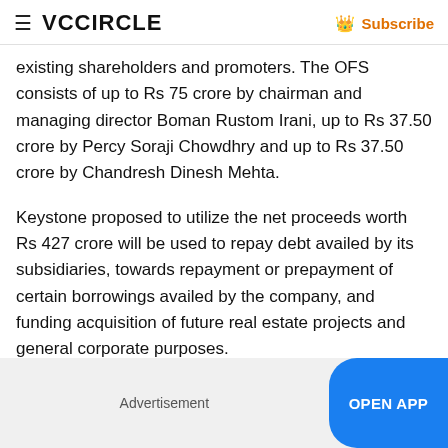VCCiRCLE   Subscribe
existing shareholders and promoters. The OFS consists of up to Rs 75 crore by chairman and managing director Boman Rustom Irani, up to Rs 37.50 crore by Percy Soraji Chowdhry and up to Rs 37.50 crore by Chandresh Dinesh Mehta.
Keystone proposed to utilize the net proceeds worth Rs 427 crore will be used to repay debt availed by its subsidiaries, towards repayment or prepayment of certain borrowings availed by the company, and funding acquisition of future real estate projects and general corporate purposes.
Advertisement